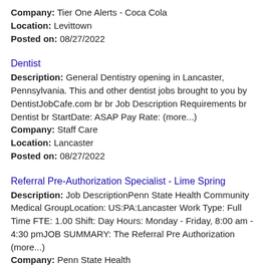Company: Tier One Alerts - Coca Cola
Location: Levittown
Posted on: 08/27/2022
Dentist
Description: General Dentistry opening in Lancaster, Pennsylvania. This and other dentist jobs brought to you by DentistJobCafe.com br br Job Description Requirements br Dentist br StartDate: ASAP Pay Rate: (more...)
Company: Staff Care
Location: Lancaster
Posted on: 08/27/2022
Referral Pre-Authorization Specialist - Lime Spring
Description: Job DescriptionPenn State Health Community Medical GroupLocation: US:PA:Lancaster Work Type: Full Time FTE: 1.00 Shift: Day Hours: Monday - Friday, 8:00 am - 4:30 pmJOB SUMMARY: The Referral Pre Authorization (more...)
Company: Penn State Health
Location: Lancaster
Posted on: 08/27/2022
Salary in Reading, Pennsylvania Area | More details for Reading, Pennsylvania Jobs |Salary